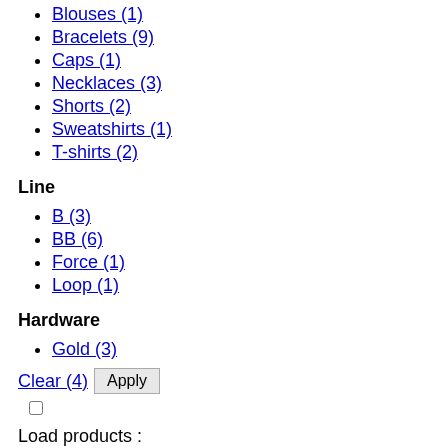Blouses (1)
Bracelets (9)
Caps (1)
Necklaces (3)
Shorts (2)
Sweatshirts (1)
T-shirts (2)
Line
B (3)
BB (6)
Force (1)
Loop (1)
Hardware
Gold (3)
Clear (4)  Apply
Load products :